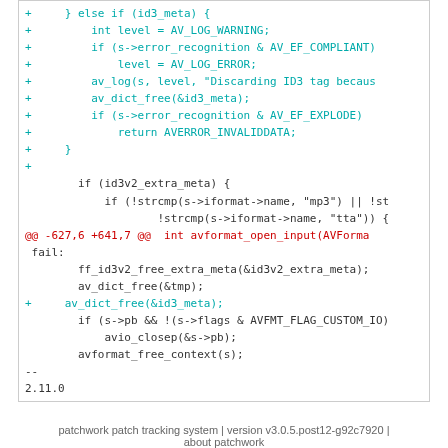[Figure (screenshot): A code diff showing additions to FFmpeg source code. Lines prefixed with + are shown in cyan/teal. A hunk header line starting with @@ is shown in red. Normal context lines are shown in dark color.]
patchwork patch tracking system | version v3.0.5.post12-g92c7920 | about patchwork